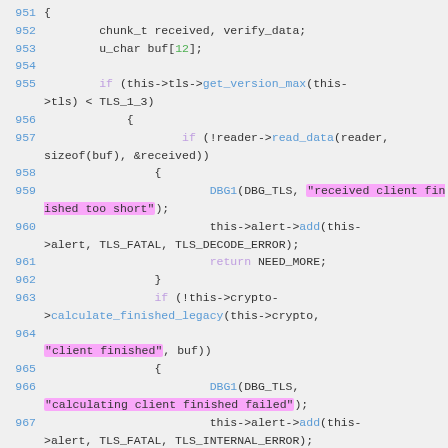Code listing showing C code for TLS client finished verification, lines 951-967